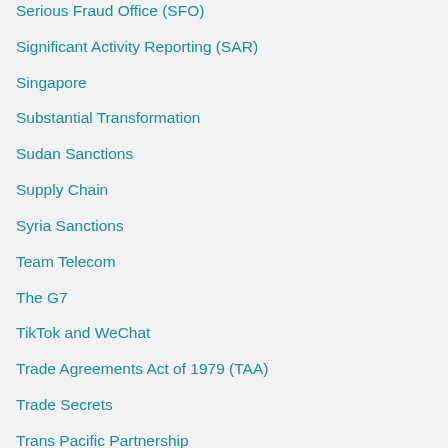Serious Fraud Office (SFO)
Significant Activity Reporting (SAR)
Singapore
Substantial Transformation
Sudan Sanctions
Supply Chain
Syria Sanctions
Team Telecom
The G7
TikTok and WeChat
Trade Agreements Act of 1979 (TAA)
Trade Secrets
Trans Pacific Partnership